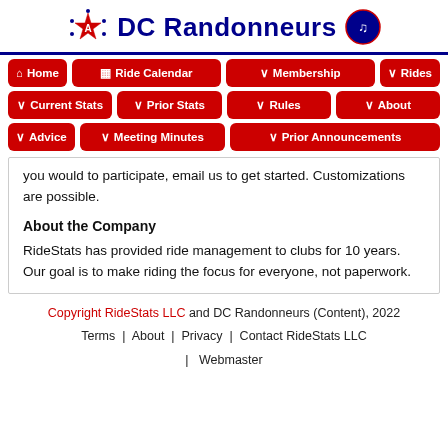DC Randonneurs
Home
Ride Calendar
Membership
Rides
Current Stats
Prior Stats
Rules
About
Advice
Meeting Minutes
Prior Announcements
you would to participate, email us to get started. Customizations are possible.
About the Company
RideStats has provided ride management to clubs for 10 years. Our goal is to make riding the focus for everyone, not paperwork.
Copyright RideStats LLC and DC Randonneurs (Content), 2022 | Terms | About | Privacy | Contact RideStats LLC | Webmaster